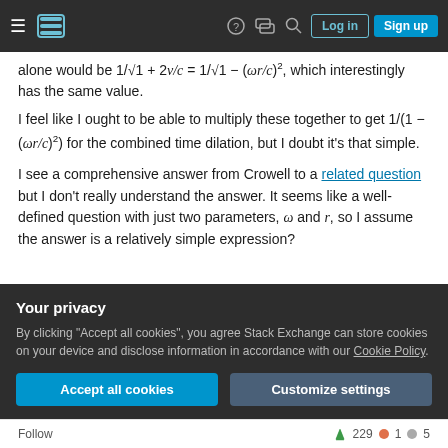Stack Exchange navigation bar with hamburger, logo, help, chat, search, login, signup
alone would be 1/√1 + 2v/c = 1/√1 − (ωr/c)², which interestingly has the same value.
I feel like I ought to be able to multiply these together to get 1/(1 − (ωr/c)²) for the combined time dilation, but I doubt it's that simple.
I see a comprehensive answer from Crowell to a related question but I don't really understand the answer. It seems like a well-defined question with just two parameters, ω and r, so I assume the answer is a relatively simple expression?
Your privacy
By clicking "Accept all cookies", you agree Stack Exchange can store cookies on your device and disclose information in accordance with our Cookie Policy.
Accept all cookies  Customize settings
Follow  229  1  5